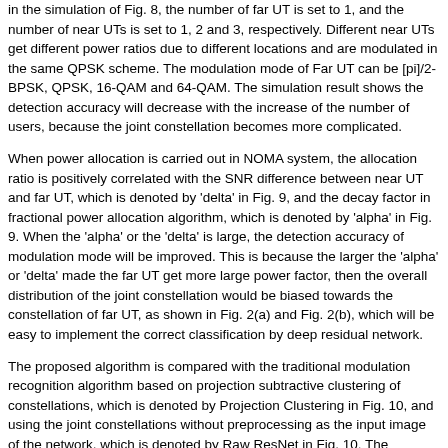in the simulation of Fig. 8, the number of far UT is set to 1, and the number of near UTs is set to 1, 2 and 3, respectively. Different near UTs get different power ratios due to different locations and are modulated in the same QPSK scheme. The modulation mode of Far UT can be [pi]/2-BPSK, QPSK, 16-QAM and 64-QAM. The simulation result shows the detection accuracy will decrease with the increase of the number of users, because the joint constellation becomes more complicated.
When power allocation is carried out in NOMA system, the allocation ratio is positively correlated with the SNR difference between near UT and far UT, which is denoted by 'delta' in Fig. 9, and the decay factor in fractional power allocation algorithm, which is denoted by 'alpha' in Fig. 9. When the 'alpha' or the 'delta' is large, the detection accuracy of modulation mode will be improved. This is because the larger the 'alpha' or 'delta' made the far UT get more large power factor, then the overall distribution of the joint constellation would be biased towards the constellation of far UT, as shown in Fig. 2(a) and Fig. 2(b), which will be easy to implement the correct classification by deep residual network.
The proposed algorithm is compared with the traditional modulation recognition algorithm based on projection subtractive clustering of constellations, which is denoted by Projection Clustering in Fig. 10, and using the joint constellations without preprocessing as the input image of the network, which is denoted by Raw ResNet in Fig. 10. The projection clustering algorithm needs to calculate the number of clustering centers first. With the increase of constellation points, the complexity of the clustering algorithm in the traversal process will be higher. In addition, the robustness against noise of cluster algorithm is poor, whether it is subtractive clustering or K-means clustering. When the SNR is not ideal, the representation ability of the joint constellation without wavelet denoising is obviously reduced. Consequently, the modulation detection